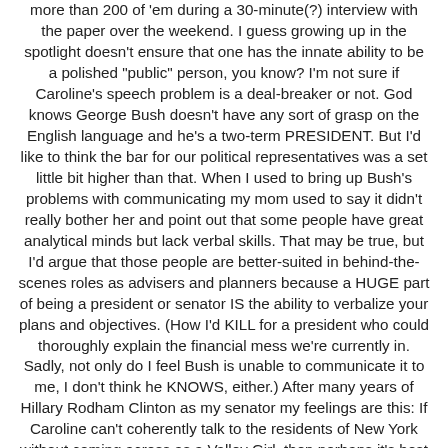more than 200 of 'em during a 30-minute(?) interview with the paper over the weekend. I guess growing up in the spotlight doesn't ensure that one has the innate ability to be a polished "public" person, you know? I'm not sure if Caroline's speech problem is a deal-breaker or not. God knows George Bush doesn't have any sort of grasp on the English language and he's a two-term PRESIDENT. But I'd like to think the bar for our political representatives was a set little bit higher than that. When I used to bring up Bush's problems with communicating my mom used to say it didn't really bother her and point out that some people have great analytical minds but lack verbal skills. That may be true, but I'd argue that those people are better-suited in behind-the-scenes roles as advisers and planners because a HUGE part of being a president or senator IS the ability to verbalize your plans and objectives. (How I'd KILL for a president who could thoroughly explain the financial mess we're currently in. Sadly, not only do I feel Bush is unable to communicate it to me, I don't think he KNOWS, either.) After many years of Hillary Rodham Clinton as my senator my feelings are this: If Caroline can't coherently talk to the residents of New York without coming across as a Valley Girl, then perhaps it's best we not hear from her at all. Seriously, dude.